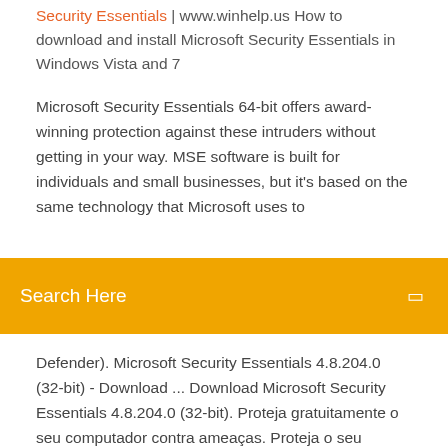Security Essentials | www.winhelp.us How to download and install Microsoft Security Essentials in Windows Vista and 7
Microsoft Security Essentials 64-bit offers award-winning protection against these intruders without getting in your way. MSE software is built for individuals and small businesses, but it's based on the same technology that Microsoft uses to
Search Here
Defender). Microsoft Security Essentials 4.8.204.0 (32-bit) - Download ... Download Microsoft Security Essentials 4.8.204.0 (32-bit). Proteja gratuitamente o seu computador contra ameaças. Proteja o seu computador contra virus, com o antivírus gratuito da Microsoft. Sim, leu bem: a Microsoft, criadora do Windows e do Office, decidiu publicar o seu próprio programa antivírus Microsoft Security Essentials 32 bits - br.ccm.net Microsoft Security Essentials é o antivírus gratuito da Microsoft. Ele tem recurso para proteção em tempo real,